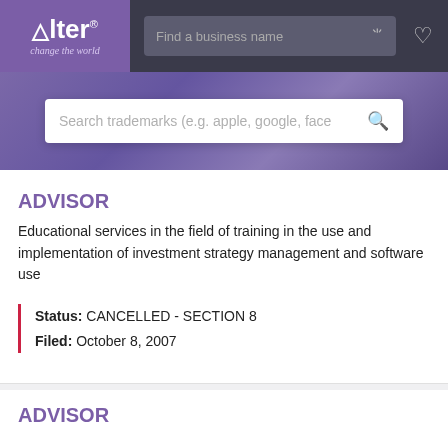[Figure (screenshot): Alter trademark search website header with purple logo box showing 'Alter change the world', a 'Find a business name' search bar with filter icon, and a heart/favorites icon on dark background]
[Figure (screenshot): Purple hero banner with a search bar reading 'Search trademarks (e.g. apple, google, face' and a magnifying glass icon]
ADVISOR
Educational services in the field of training in the use and implementation of investment strategy management and software use
Status: CANCELLED - SECTION 8
Filed: October 8, 2007
ADVISOR